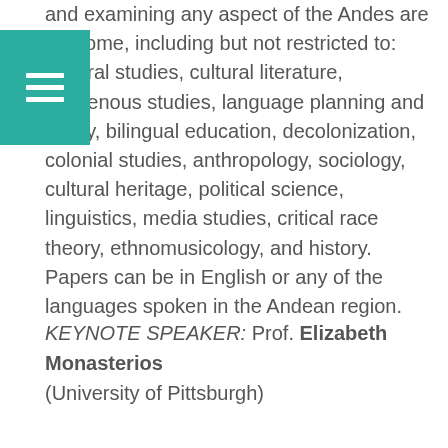and examining any aspect of the Andes are welcome, including but not restricted to: cultural studies, cultural literature, indigenous studies, language planning and policy, bilingual education, decolonization, colonial studies, anthropology, sociology, cultural heritage, political science, linguistics, media studies, critical race theory, ethnomusicology, and history. Papers can be in English or any of the languages spoken in the Andean region.
KEYNOTE SPEAKER: Prof. Elizabeth Monasterios (University of Pittsburgh)